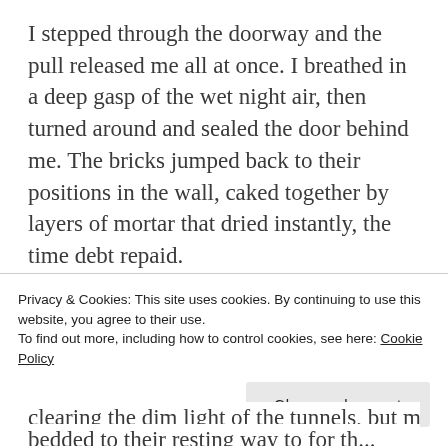I stepped through the doorway and the pull released me all at once. I breathed in a deep gasp of the wet night air, then turned around and sealed the door behind me. The bricks jumped back to their positions in the wall, caked together by layers of mortar that dried instantly, the time debt repaid.
The catacombs beyond the threshold spanned infinitely forward, appropriated as resting places for Reapers rather than corpses.
M... [partial line cut off]
Privacy & Cookies: This site uses cookies. By continuing to use this website, you agree to their use.
To find out more, including how to control cookies, see here: Cookie Policy
Close and accept
...clearing the dim light of the tunnels, but most [partial]